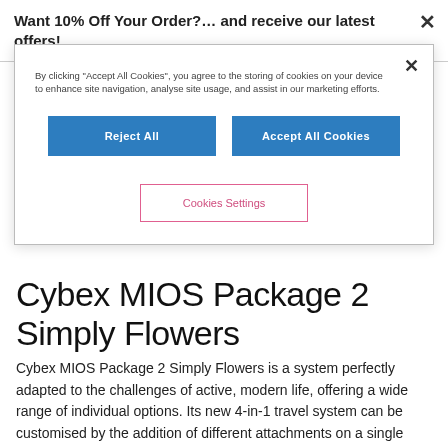Want 10% Off Your Order?… and receive our latest offers!
By clicking "Accept All Cookies", you agree to the storing of cookies on your device to enhance site navigation, analyse site usage, and assist in our marketing efforts.
Reject All
Accept All Cookies
Cookies Settings
Cybex MIOS Package 2 Simply Flowers
Cybex MIOS Package 2 Simply Flowers is a system perfectly adapted to the challenges of active, modern life, offering a wide range of individual options. Its new 4-in-1 travel system can be customised by the addition of different attachments on a single frame. Cybex MIOS Package 2 Simply Flowers can be used with the new LUX Carry Cot (included), the LTE Cot with the integration of...